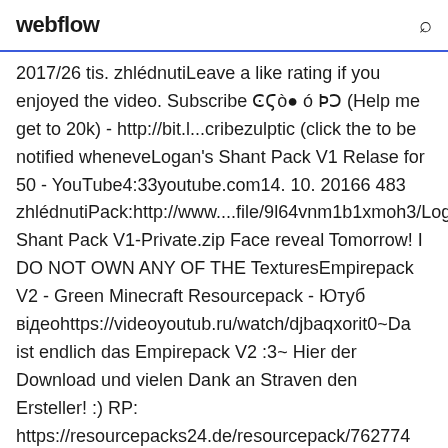webflow
2017/26 tis. zhlédnutiLeave a like rating if you enjoyed the video. Subscribe ϾϚò● ó ϷϽ (Help me get to 20k) - http://bit.l...cribezulptic (click the to be notified wheneveLogan's Shant Pack V1 Relase for 50 - YouTube4:33youtube.com14. 10. 20166 483 zhlédnutiPack:http://www....file/9l64vnm1b1xmoh3/Logan's Shant Pack V1-Private.zip Face reveal Tomorrow! I DO NOT OWN ANY OF THE TexturesEmpirepack V2 - Green Minecraft Resourcepack - Ютуб відеоhttps://videoyoutub.ru/watch/djbaqxorit0~Da ist endlich das Empirepack V2 :3~ Hier der Download und vielen Dank an Straven den Ersteller! :) RP: https://resourcepacks24.de/resourcepack/762774